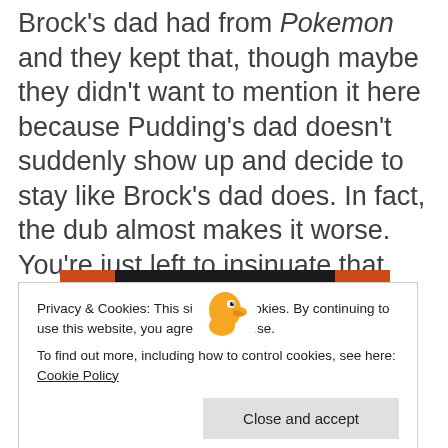Brock's dad had from Pokemon and they kept that, though maybe they didn't want to mention it here because Pudding's dad doesn't suddenly show up and decide to stay like Brock's dad does. In fact, the dub almost makes it worse. You're just left to insinuate that he's some deadbeat who left his sickly wife and six young kids…..which….yeah….he pretty much is.
[Figure (logo): DuckDuckGo banner with orange left and right panels and a white DuckDuckGo duck logo in the center on a dark background]
Privacy & Cookies: This site uses cookies. By continuing to use this website, you agree to their use.
To find out more, including how to control cookies, see here: Cookie Policy
Close and accept